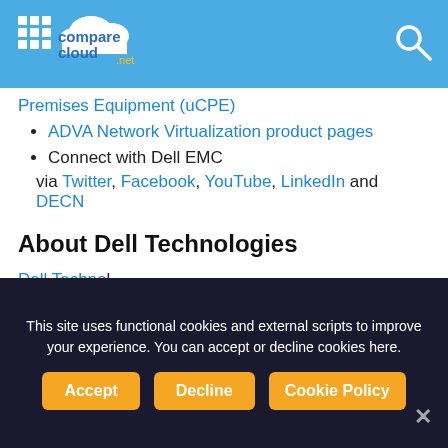comparecloud.net
Premises Equipment (uCPE)
ADVA Network Virtualization product pages
Connect with Dell EMC
via Twitter, Facebook, YouTube, LinkedIn and DECN
About Dell Technologies
Dell Technologies businesses b... their digital... The compan... broadest an...
[Figure (screenshot): More Stories popup with GTT story and logo]
This site uses functional cookies and external scripts to improve your experience. You can accept or decline cookies here.